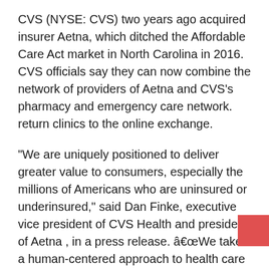CVS (NYSE: CVS) two years ago acquired insurer Aetna, which ditched the Affordable Care Act market in North Carolina in 2016. CVS officials say they can now combine the network of providers of Aetna and CVS's pharmacy and emergency care network. return clinics to the online exchange.
“We are uniquely positioned to deliver greater value to consumers, especially the millions of Americans who are uninsured or underinsured,” said Dan Finke, executive vice president of CVS Health and president of Aetna , in a press release. â€œWe take a human-centered approach to health care by connecting people with the services and support they want in their neighborhoods, their homes and virtually anywhere they need us.
Blue Cross Blue Shield of North Carolina is the only insurer offer ACA plans in all 100 counties. Other insurers, such as